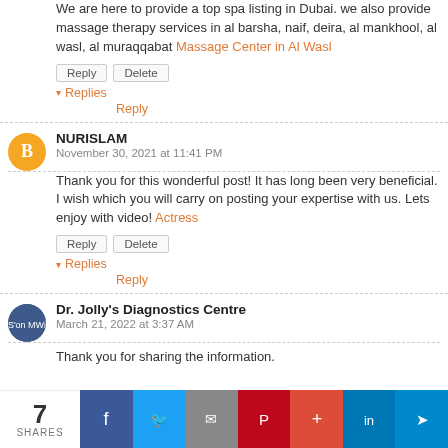We are here to provide a top spa listing in Dubai. we also provide massage therapy services in al barsha, naif, deira, al mankhool, al wasl, al muraqqabat Massage Center in Al Wasl
Reply Delete
▾ Replies Reply
NURISLAM
November 30, 2021 at 11:41 PM
Thank you for this wonderful post! It has long been very beneficial. I wish which you will carry on posting your expertise with us. Lets enjoy with video! Actress
Reply Delete
▾ Replies Reply
Dr. Jolly's Diagnostics Centre
March 21, 2022 at 3:37 AM
Thank you for sharing the information.
7 SHARES  Facebook  Twitter  Email  Pinterest  More  LinkedIn  Telegram